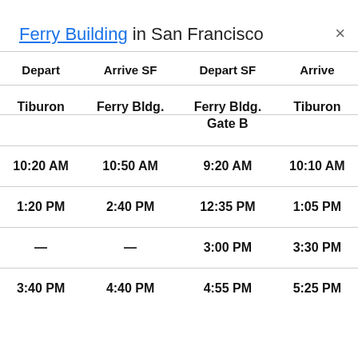Ferry Building in San Francisco
| Depart | Arrive SF | Depart SF | Arrive |
| --- | --- | --- | --- |
| Tiburon | Ferry Bldg. | Ferry Bldg. Gate B | Tiburon |
| 10:20 AM | 10:50 AM | 9:20 AM | 10:10 AM |
| 1:20 PM | 2:40 PM | 12:35 PM | 1:05 PM |
| — | — | 3:00 PM | 3:30 PM |
| 3:40 PM | 4:40 PM | 4:55 PM | 5:25 PM |